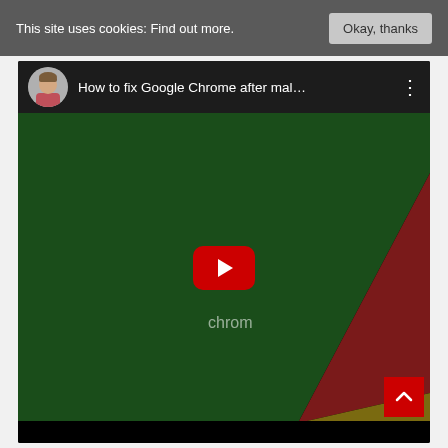This site uses cookies: Find out more.
[Figure (screenshot): YouTube video embed showing 'How to fix Google Chrome after mal...' with a thumbnail featuring green, dark red, and yellow-olive diagonal color sections. A red YouTube play button is centered. The video has a top bar with a circular avatar of a man in a pink shirt and the video title. A red scroll-to-top button is in the bottom right corner.]